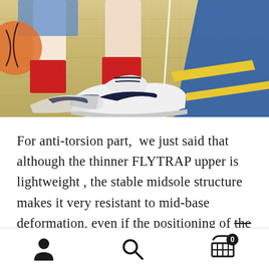[Figure (photo): Close-up photo of a basketball player's feet wearing white Nike basketball shoes (likely Nike Hyperdunk/Flytrap) with red socks and dark laces, standing on a hardwood basketball court. A basketball is partially visible on the left. The court has blue painted areas and yellow stripe markings visible on the right side.]
For anti-torsion part,  we just said that although the thinner FLYTRAP upper is lightweight , the stable midsole structure makes it very resistant to mid-base deformation, even if the positioning of the mid-end does not affect the actual
Navigation bar with user icon, search icon, and cart icon with badge showing 0